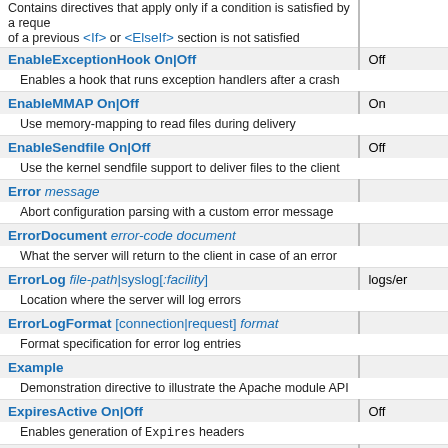| Directive | Default |
| --- | --- |
| Contains directives that apply only if a condition is satisfied by a request of a previous <If> or <ElseIf> section is not satisfied |  |
| EnableExceptionHook On|Off | Off |
| Enables a hook that runs exception handlers after a crash |  |
| EnableMMAP On|Off | On |
| Use memory-mapping to read files during delivery |  |
| EnableSendfile On|Off | Off |
| Use the kernel sendfile support to deliver files to the client |  |
| Error message |  |
| Abort configuration parsing with a custom error message |  |
| ErrorDocument error-code document |  |
| What the server will return to the client in case of an error |  |
| ErrorLog file-path|syslog[:facility] | logs/er |
| Location where the server will log errors |  |
| ErrorLogFormat [connection|request] format |  |
| Format specification for error log entries |  |
| Example |  |
| Demonstration directive to illustrate the Apache module API |  |
| ExpiresActive On|Off | Off |
| Enables generation of Expires headers |  |
| ExpiresByType MIME-type <code>seconds |  |
| Value of the Expires header configured by MIME type |  |
| ExpiresDefault <code>seconds |  |